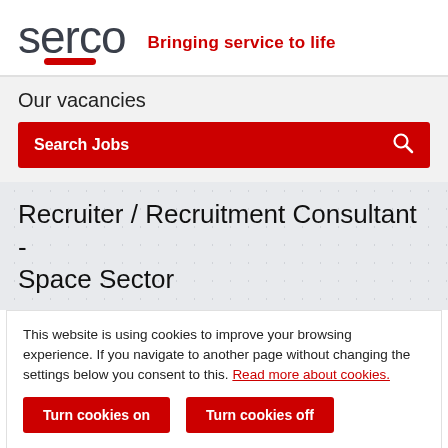[Figure (logo): Serco logo with tagline 'Bringing service to life']
Our vacancies
Search Jobs
Recruiter / Recruitment Consultant - Space Sector
This website is using cookies to improve your browsing experience. If you navigate to another page without changing the settings below you consent to this. Read more about cookies.
Turn cookies on
Turn cookies off